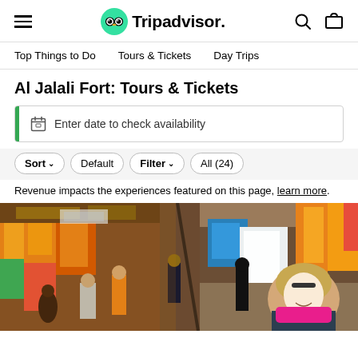Tripadvisor header with hamburger menu, logo, search and cart icons
Top Things to Do   Tours & Tickets   Day Trips
Al Jalali Fort: Tours & Tickets
Enter date to check availability
Sort Default  Filter All (24)
Revenue impacts the experiences featured on this page, learn more.
[Figure (photo): Busy outdoor market street with colorful fabric stalls, vendors, shoppers, and a blonde woman in foreground on the right side]